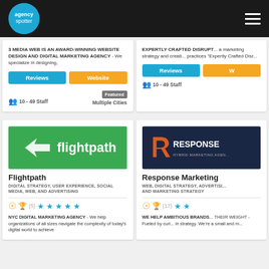[Figure (logo): Agency Spotter logo - blue circle with white text and hamburger menu on black header]
3 MEDIA WEB IS AN AWARD-WINNING WEBSITE DESIGN AND DIGITAL MARKETING AGENCY - We specialize in designing,
EXPERTLY CRAFTED DISRUPT... a marketing strategy and creati... practices "Expertly Crafted Disr...
Reviews | Website (buttons)
Reviews | W (buttons)
Featured
10 - 49 Staff   Multiple Cities
10 - 49 Staff
[Figure (logo): Flightpath logo - white arrow and flightpath text on green background]
[Figure (logo): Response Marketing logo - orange R icon and RESPONSE HYBRID MARKETING AGENCY text on dark navy background]
Flightpath
Response Marketing
DIGITAL STRATEGY, USER EXPERIENCE, SOCIAL MEDIA, WEB, AND ADVERTISING
WEB, DIGITAL STRATEGY, ADVERTISI... AND MARKETING STRATEGY
(5) ★★★★★
(17) ★★
NYC DIGITAL MARKETING AGENCY - We help organizations of all sizes navigate the complexity of today's digital world to achieve
WE HELP AMBITIOUS BRANDS... THEIR WEIGHT - Fueled by curi... in strategy. We're a small and m...